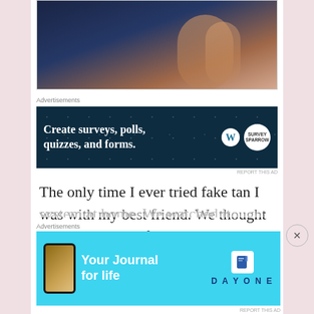[Figure (photo): Partial photo of a person with long hair against a dark blue background, cropped at the top of the page.]
Advertisements
[Figure (screenshot): Advertisement banner with dark teal background reading 'Create surveys, polls, quizzes, and forms.' with WordPress and Survey Sparrow logos.]
REPORT THIS AD
The only time I ever tried fake tan I was with my best friend. We thought we'd try it in a safe environment so that if we had any side effects we'd have a support
Advertisements
[Figure (screenshot): Advertisement banner with light blue background reading 'Your Journal for life' with Day One app logo and phone graphic.]
REPORT THIS AD